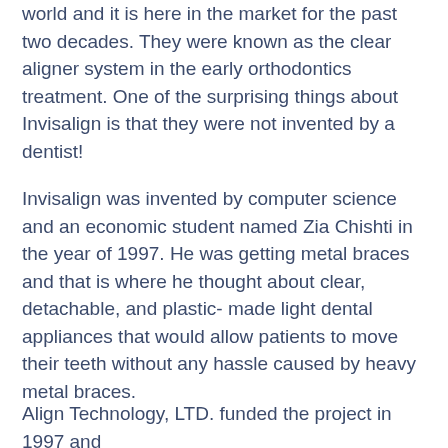world and it is here in the market for the past two decades. They were known as the clear aligner system in the early orthodontics treatment. One of the surprising things about Invisalign is that they were not invented by a dentist!
Invisalign was invented by computer science and an economic student named Zia Chishti in the year of 1997. He was getting metal braces and that is where he thought about clear, detachable, and plastic- made light dental appliances that would allow patients to move their teeth without any hassle caused by heavy metal braces.
Align Technology, LTD. funded the project in 1997 and